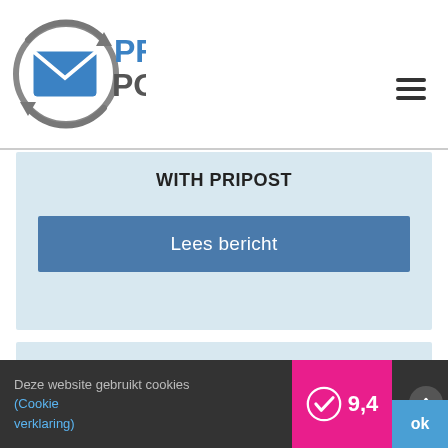[Figure (logo): PRI POST logo with envelope icon and circular arrows, company name in blue and gray text]
☰ (hamburger menu icon)
WITH PRIPOST
Lees bericht
Deze website gebruikt cookies (Cookie verklaring)
[Figure (logo): Kiyoh rating badge showing 9.4 score with checkmark icon on pink/magenta background]